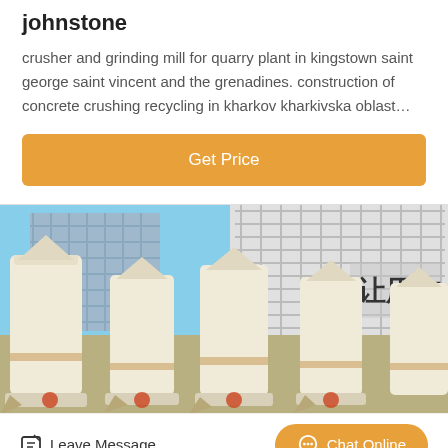johnstone
crusher and grinding mill for quarry plant in kingstown saint george saint vincent and the grenadines. construction of concrete crushing recycling in kharkov kharkivska oblast…
Get Price
[Figure (photo): Industrial grinding mills (large cylindrical cream-colored machines) in front of a building with Chinese characters, under a blue sky.]
Leave Message
Chat Online